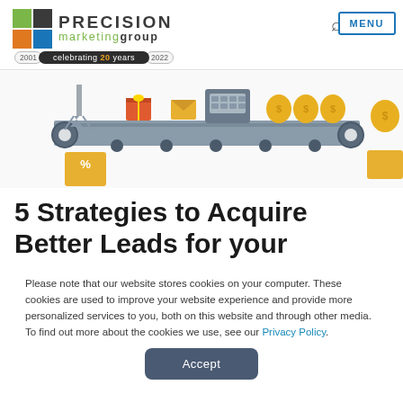[Figure (logo): Precision Marketing Group logo with colored squares icon and company name]
celebrating 20 years  2001  2022
[Figure (illustration): Marketing/sales conveyor belt illustration showing gift boxes, coins, money bags and claw machine icons]
5 Strategies to Acquire Better Leads for your
Please note that our website stores cookies on your computer. These cookies are used to improve your website experience and provide more personalized services to you, both on this website and through other media. To find out more about the cookies we use, see our Privacy Policy.
Accept